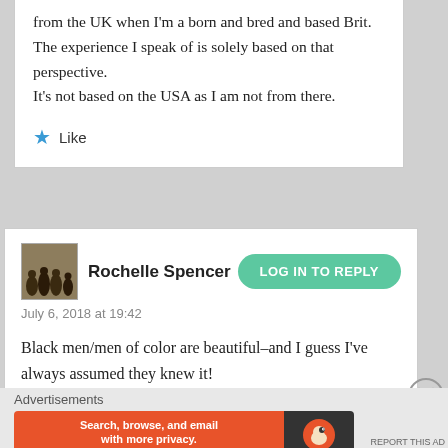from the UK when I'm a born and bred and based Brit. The experience I speak of is solely based on that perspective.
It's not based on the USA as I am not from there.
Like
Rochelle Spencer
July 6, 2018 at 19:42
Black men/men of color are beautiful–and I guess I've always assumed they knew it!
Advertisements
[Figure (infographic): DuckDuckGo advertisement banner: orange left section with text 'Search, browse, and email with more privacy. All in One Free App', dark right section with DuckDuckGo logo and name.]